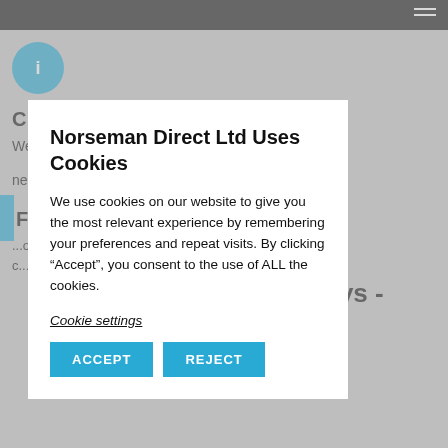[Figure (screenshot): Blue circular info icon with white letter i]
CLICK TO LEARN MORE...
We can customise any of our store products to fit your needs.
F...
...om our c...
...lleys -
Norseman Direct Ltd Uses Cookies
We use cookies on our website to give you the most relevant experience by remembering your preferences and repeat visits. By clicking “Accept”, you consent to the use of ALL the cookies.
Cookie settings
ACCEPT
REJECT